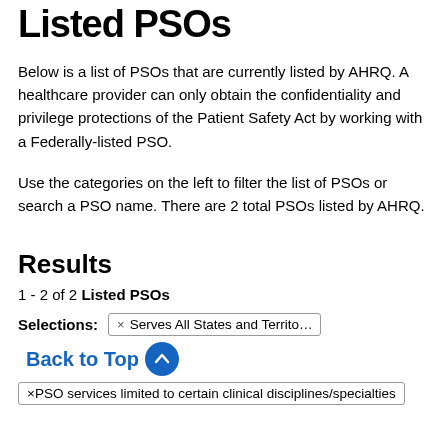Listed PSOs
Below is a list of PSOs that are currently listed by AHRQ. A healthcare provider can only obtain the confidentiality and privilege protections of the Patient Safety Act by working with a Federally-listed PSO.
Use the categories on the left to filter the list of PSOs or search a PSO name. There are 2 total PSOs listed by AHRQ.
Results
1 - 2 of 2 Listed PSOs
Selections: × Serves All States and Territories  Back to Top
× PSO services limited to certain clinical disciplines/specialties